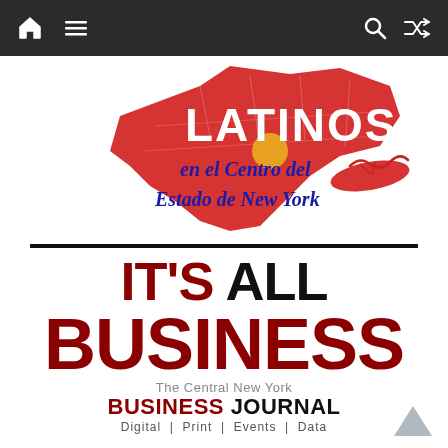Navigation bar with home, menu, search, and shuffle icons
[Figure (illustration): Red map of New York State with 'LATINOS' text in yellow/red bold lettering overlaid, and 'en el Centro del Estado de New York' in blue italic text below]
[Figure (logo): IT'S ALL BUSINESS - The Central New York BUSINESS JOURNAL - Digital | Print | Events | Data logo]
CNY's trusted source